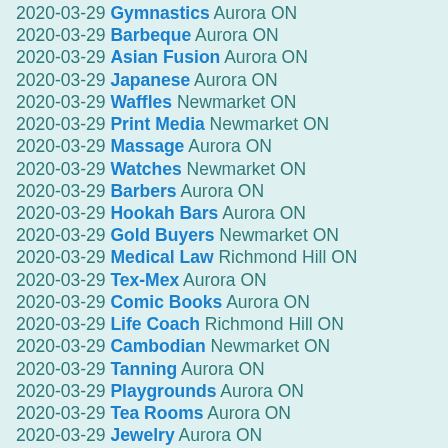2020-03-29 Gymnastics Aurora ON
2020-03-29 Barbeque Aurora ON
2020-03-29 Asian Fusion Aurora ON
2020-03-29 Japanese Aurora ON
2020-03-29 Waffles Newmarket ON
2020-03-29 Print Media Newmarket ON
2020-03-29 Massage Aurora ON
2020-03-29 Watches Newmarket ON
2020-03-29 Barbers Aurora ON
2020-03-29 Hookah Bars Aurora ON
2020-03-29 Gold Buyers Newmarket ON
2020-03-29 Medical Law Richmond Hill ON
2020-03-29 Tex-Mex Aurora ON
2020-03-29 Comic Books Aurora ON
2020-03-29 Life Coach Richmond Hill ON
2020-03-29 Cambodian Newmarket ON
2020-03-29 Tanning Aurora ON
2020-03-29 Playgrounds Aurora ON
2020-03-29 Tea Rooms Aurora ON
2020-03-29 Jewelry Aurora ON
2020-03-29 Italian Aurora ON
2020-03-29 Preschools Newmarket ON
2020-03-29 Hot Dogs Aurora ON